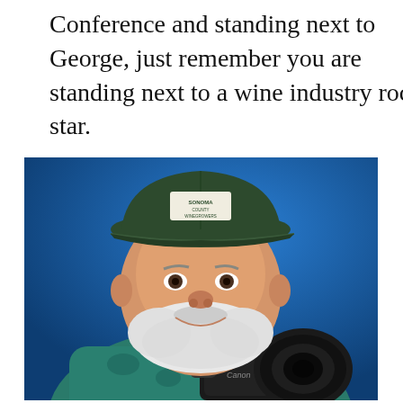Conference and standing next to George, just remember you are standing next to a wine industry rock star.
[Figure (photo): Portrait of a smiling older man with a white beard wearing a dark green Sonoma County Winegrowers cap and a patterned teal/green shirt, holding a Canon DSLR camera with a large lens. Blue background.]